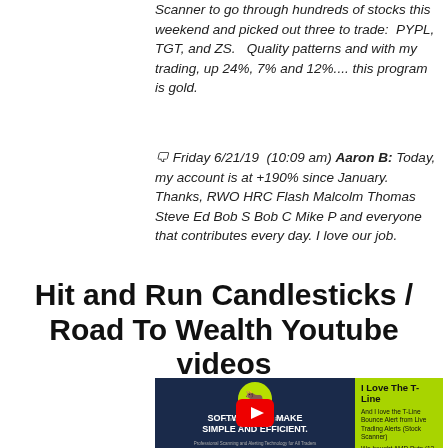Scanner to go through hundreds of stocks this weekend and picked out three to trade:  PYPL, TGT, and ZS.   Quality patterns and with my trading, up 24%, 7% and 12%.... this program is gold.
🗨 Friday 6/21/19  (10:09 am) Aaron B: Today, my account is at +190% since January. Thanks, RWO HRC Flash Malcolm Thomas Steve Ed Bob S Bob C Mike P and everyone that contributes every day. I love our job.
Hit and Run Candlesticks / Road To Wealth Youtube videos
[Figure (screenshot): YouTube video thumbnail for 'I Love The T-Line' featuring Live Trading Alerts software logo on dark background with YouTube play button, and green sidebar with 'I Love The T-Line' title, T-Line Bounce Alert description, and AMD Puts trade result of 19.5% before lunch.]